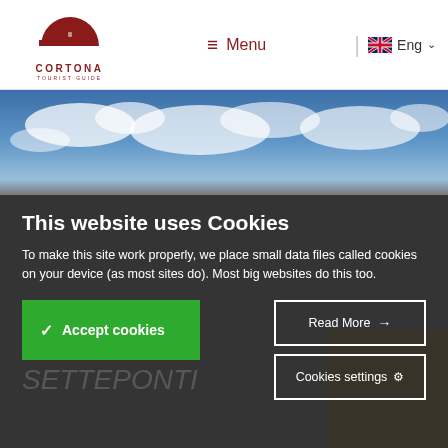[Figure (logo): Cortona Tourist Guide logo with dark red castle/cityscape silhouette and semi-circle at top]
CORTONA TOURIST GUIDE  ≡ Menu  |  Eng ∨
[Figure (photo): Background photo showing blue sky with clouds at top and dark building silhouette at bottom]
This website uses Cookies
To make this site work properly, we place small data files called cookies on your device (as most sites do). Most big websites do this too.
✓ Accept cookies
Read More →
Cookies settings ⚙